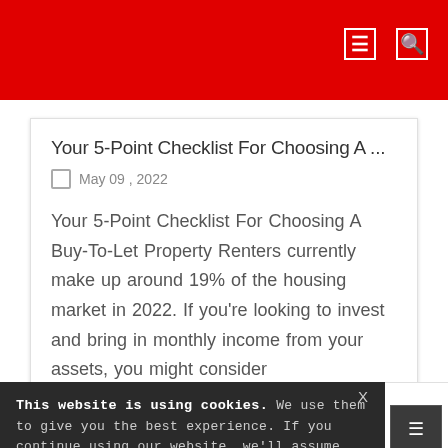Your 5-Point Checklist For Choosing A ...
May 09 , 2022
Your 5-Point Checklist For Choosing A Buy-To-Let Property Renters currently make up around 19% of the housing market in 2022. If you're looking to invest and bring in monthly income from your assets, you might consider
This website is using cookies. We use them to give you the best experience. If you continue using our website, we'll assume that you are happy to receive all cookies on this website. Continue Learn more